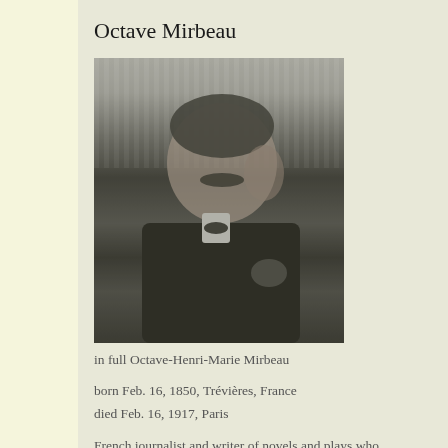Octave Mirbeau
[Figure (photo): Black and white photograph of Octave Mirbeau, a man with a mustache resting his head on his hand, wearing a dark suit, seated against a striped background.]
in full Octave-Henri-Marie Mirbeau
born Feb. 16, 1850, Trévières, France
died Feb. 16, 1917, Paris
French journalist and writer of novels and plays who unsparingly satir... of the Académie Goncourt, founded in 1903.